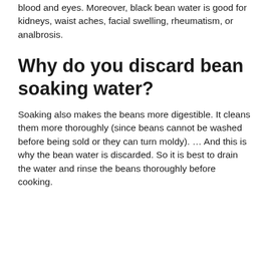blood and eyes. Moreover, black bean water is good for kidneys, waist aches, facial swelling, rheumatism, or analbrosis.
Why do you discard bean soaking water?
Soaking also makes the beans more digestible. It cleans them more thoroughly (since beans cannot be washed before being sold or they can turn moldy). … And this is why the bean water is discarded. So it is best to drain the water and rinse the beans thoroughly before cooking.